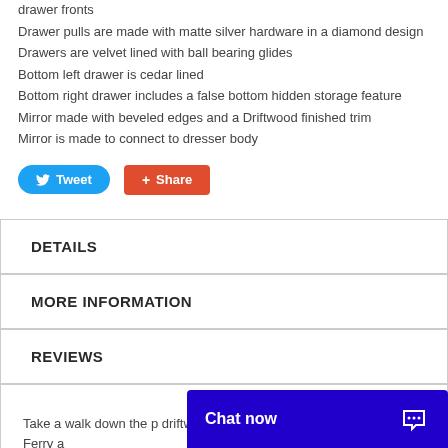drawer fronts
Drawer pulls are made with matte silver hardware in a diamond design
Drawers are velvet lined with ball bearing glides
Bottom left drawer is cedar lined
Bottom right drawer includes a false bottom hidden storage feature
Mirror made with beveled edges and a Driftwood finished trim
Mirror is made to connect to dresser body
DETAILS
MORE INFORMATION
REVIEWS
Take a walk down the p... driftwood hues, comfor... accents. Hudson Ferry a...